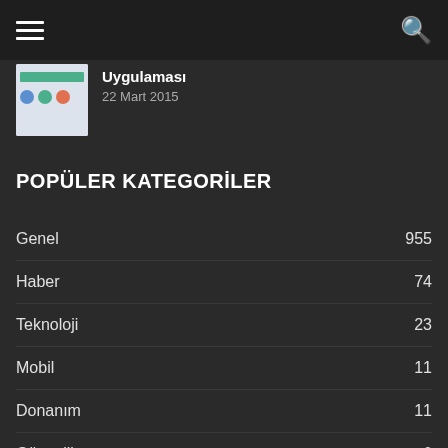Navigation bar with hamburger menu and search icon
Uygulaması
22 Mart 2015
POPÜLER KATEGORİLER
Genel 955
Haber 74
Teknoloji 23
Mobil 11
Donanım 11
Güvenlik 6
LG 5
Samsung 5
Oyun 4